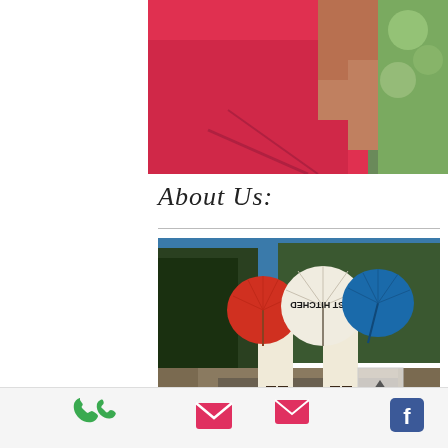[Figure (photo): Close-up photo of a person wearing a red/pink dress, showing shoulder and torso area, with green foliage in the background]
About Us:
[Figure (photo): Two people walking away from camera holding colorful parasols/umbrellas - red, white (reading 'JUST HITCHED'), and blue - on a road with trees in background. A scroll-to-top button overlay is visible in the bottom right corner.]
[Figure (infographic): Footer navigation bar with four icons: phone (green), email (pink/red envelope), Facebook (blue), and a menu/contact list icon (blue)]